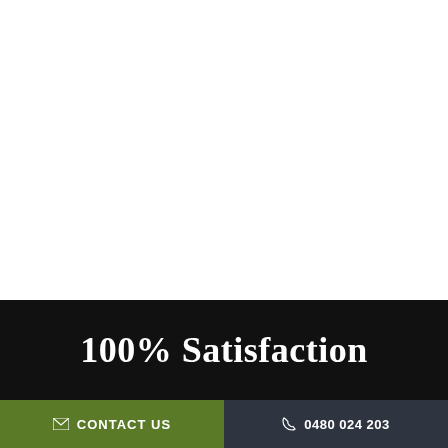100% Satisfaction
CONTACT US   0480 024 203